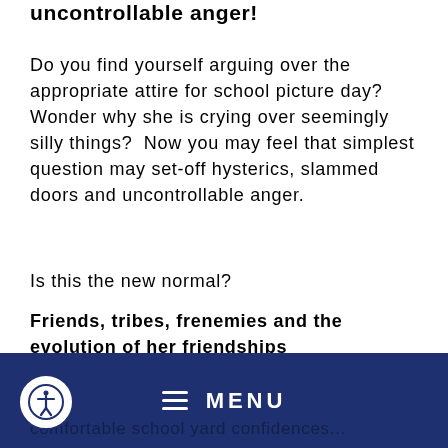uncontrollable anger!
Do you find yourself arguing over the appropriate attire for school picture day? Wonder why she is crying over seemingly silly things?  Now you may feel that simplest question may set-off hysterics, slammed doors and uncontrollable anger.
Is this the new normal?
Friends, tribes, frenemies and the evolution of her friendships
As your daughter transitions to adolescence and a tweenage, her relationships will shift and change
comfortable school yard confidences...